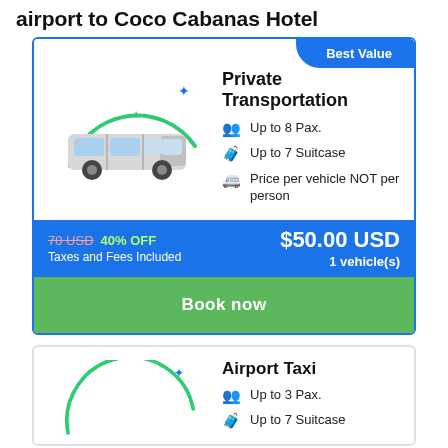airport to Coco Cabanas Hotel
Best Value
[Figure (illustration): Van/minibus illustration with green arc and sparkle icons]
Private Transportation
Up to 8 Pax.
Up to 7 Suitcase
Price per vehicle NOT per person
70 USD  40% OFF
Taxes and Fees Included
$50.00 USD
1 vehicle(s)
Book now
Airport Taxi
Up to 3 Pax.
Up to 7 Suitcase